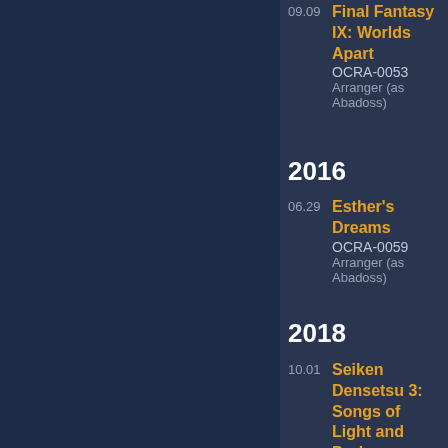09.09 Final Fantasy IX: Worlds Apart OCRA-0053 Arranger (as Abadoss)
2016
06.29 Esther's Dreams OCRA-0059 Arranger (as Abadoss)
2018
10.01 Seiken Densetsu 3: Songs of Light and Darkness OCRA-0067 Arranger (as Abadoss)